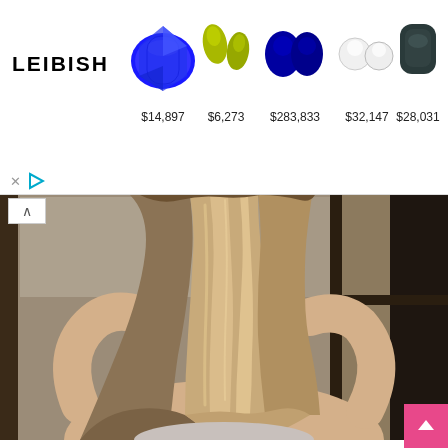[Figure (illustration): LEIBISH jewelry advertisement banner showing gemstones: blue sapphire cushion cut ($14,897), two yellow-green peridot drops ($6,273), two blue oval sapphires ($283,833), two round diamonds ($32,147), and a dark teal cushion cut gem ($28,031). LEIBISH logo on left. X and play icon controls below.]
[Figure (photo): Back view of a woman with long blonde highlighted wavy hair, hands raised behind her head, wearing a light gray top, standing in front of a large window with dark frames.]
ASIF2BD.INFO - Hi guys toning down blonde hair is a popular trend once fall hits so here is